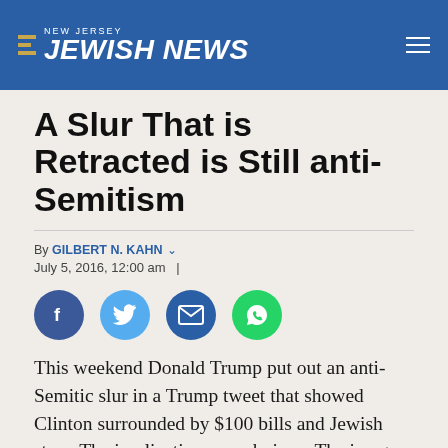NEW JERSEY JEWISH NEWS
A Slur That is Retracted is Still anti-Semitism
By GILBERT N. KAHN ▾
July 5, 2016, 12:00 am  |
[Figure (infographic): Social media share icons: Facebook (blue circle), Twitter (light blue circle), Email (dark blue circle), WhatsApp (green circle)]
This weekend Donald Trump put out an anti-Semitic slur in a Trump tweet that showed Clinton surrounded by $100 bills and Jewish stars. The implication was obvious. The image which was taken down after several hours underscores three distinct, incontrovertible issues about the candidate